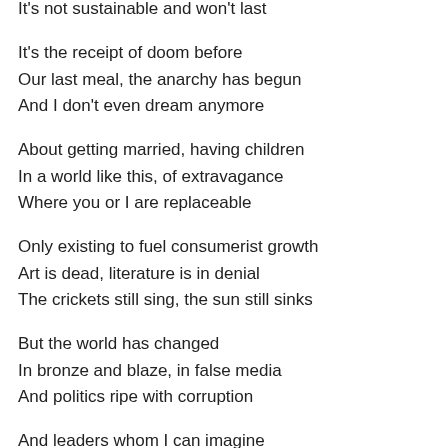It's not sustainable and won't last
It's the receipt of doom before
Our last meal, the anarchy has begun
And I don't even dream anymore
About getting married, having children
In a world like this, of extravagance
Where you or I are replaceable
Only existing to fuel consumerist growth
Art is dead, literature is in denial
The crickets still sing, the sun still sinks
But the world has changed
In bronze and blaze, in false media
And politics ripe with corruption
And leaders whom I can imagine